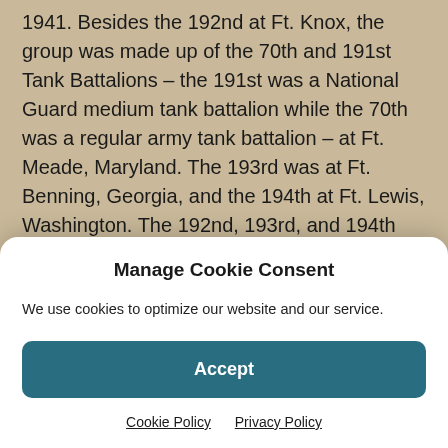1941. Besides the 192nd at Ft. Knox, the group was made up of the 70th and 191st Tank Battalions – the 191st was a National Guard medium tank battalion while the 70th was a regular army tank battalion – at Ft. Meade, Maryland. The 193rd was at Ft. Benning, Georgia, and the 194th at Ft. Lewis, Washington. The 192nd, 193rd, and 194th had been National Guard light tank battalions. It is known that the military presence in the Philippines was being built up at the time, so in all likelihood, the entire tank group had been scheduled to be sent to the Philippines.
Manage Cookie Consent
We use cookies to optimize our website and our service.
Accept
Cookie Policy   Privacy Policy